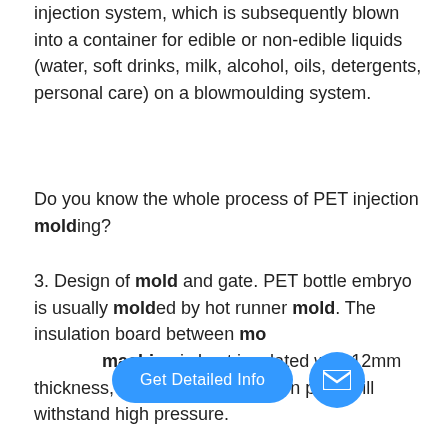injection system, which is subsequently blown into a container for edible or non-edible liquids (water, soft drinks, milk, alcohol, oils, detergents, personal care) on a blowmoulding system.
Do you know the whole process of PET injection molding?
3. Design of mold and gate. PET bottle embryo is usually molded by hot runner mold. The insulation board between mold and injection molding machine is best insulated with 12mm thickness, and the heat insulation plate will withstand high pressure.
Types of Plastic Moulds: The Comprehensive Guide
This types of plasitc moulds are designed as a huge bottle to ensure that it can mold other huge objects. There are three steps of blow moulding, first heat